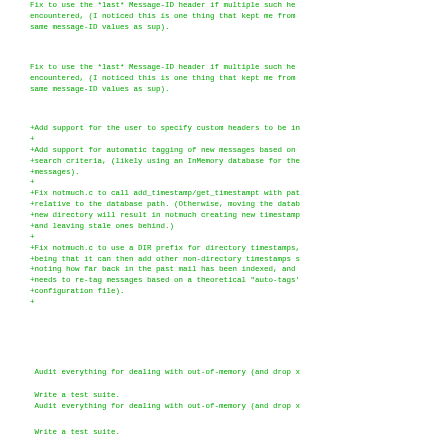Fix to use the *last* Message-ID header if multiple such he
encountered, (I noticed this is one thing that kept me from
same message-ID values as sup).
Fix to use the *last* Message-ID header if multiple such he
encountered, (I noticed this is one thing that kept me from
same message-ID values as sup).
+Add support for the user to specify custom headers to be i
+
+Add support for automatic tagging of new messages based on
+search criteria, (likely using an InMemory database for the
+messages).
+
+Fix notmuch.c to call add_timestamp/get_timestampt with pat
+relative to the database path. (Otherwise, moving the datab
+new directory will result in notmuch creating new timestamp
+and leaving stale ones behind.)
+
+Fix notmuch.c to use a DIR prefix for directory timestamps,
+being that it can then add other non-directory timestamps s
+noting how far back in the past mail has been indexed, and
+needs to re-tag messages based on a theoretical "auto-tags'
+configuration file).
+
Audit everything for dealing with out-of-memory (and drop x
Write a test suite.
 Audit everything for dealing with out-of-memory (and drop x
Write a test suite.